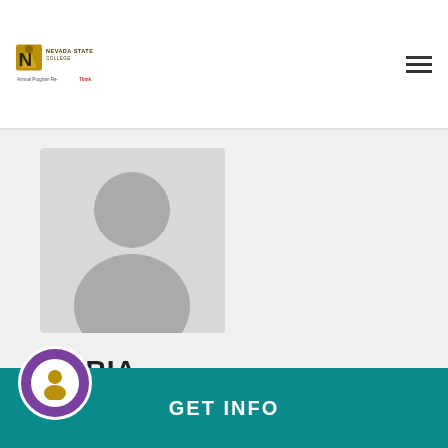Nevada State College — Annual Program Re-Think
[Figure (illustration): Generic grey placeholder person silhouette profile image on light grey background]
MARIA
Hi there!  My name is Maria and a member of Nepantla's 5th